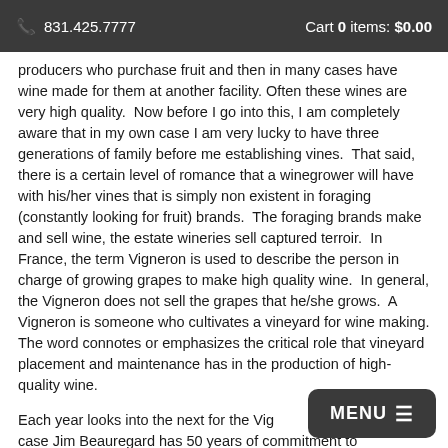831.425.7777   Cart 0 items: $0.00
producers who purchase fruit and then in many cases have wine made for them at another facility. Often these wines are very high quality.  Now before I go into this, I am completely aware that in my own case I am very lucky to have three generations of family before me establishing vines.  That said, there is a certain level of romance that a winegrower will have with his/her vines that is simply non existent in foraging (constantly looking for fruit) brands.  The foraging brands make and sell wine, the estate wineries sell captured terroir.  In France, the term Vigneron is used to describe the person in charge of growing grapes to make high quality wine.  In general, the Vigneron does not sell the grapes that he/she grows.  A Vigneron is someone who cultivates a vineyard for wine making. The word connotes or emphasizes the critical role that vineyard placement and maintenance has in the production of high-quality wine.
Each year looks into the next for the Vigneron, in our case Jim Beauregard has 50 years of commitment to